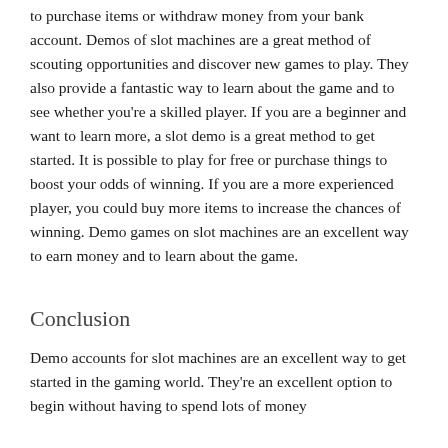to purchase items or withdraw money from your bank account. Demos of slot machines are a great method of scouting opportunities and discover new games to play. They also provide a fantastic way to learn about the game and to see whether you're a skilled player. If you are a beginner and want to learn more, a slot demo is a great method to get started. It is possible to play for free or purchase things to boost your odds of winning. If you are a more experienced player, you could buy more items to increase the chances of winning. Demo games on slot machines are an excellent way to earn money and to learn about the game.
Conclusion
Demo accounts for slot machines are an excellent way to get started in the gaming world. They're an excellent option to begin without having to spend lots of money